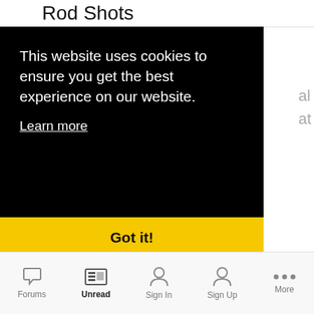Rod Shots
This website uses cookies to ensure you get the best experience on our website.
Learn more
Got it!
August 5
4 POINTS
Forums  Unread  Sign In  Sign Up  More